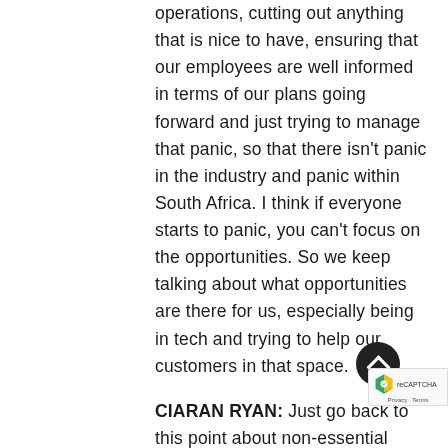operations, cutting out anything that is nice to have, ensuring that our employees are well informed in terms of our plans going forward and just trying to manage that panic, so that there isn't panic in the industry and panic within South Africa. I think if everyone starts to panic, you can't focus on the opportunities. So we keep talking about what opportunities are there for us, especially being in tech and trying to help our customers in that space.
CIARAN RYAN: Just go back to this point about non-essential expenses, what would be non-essential expenses for you?